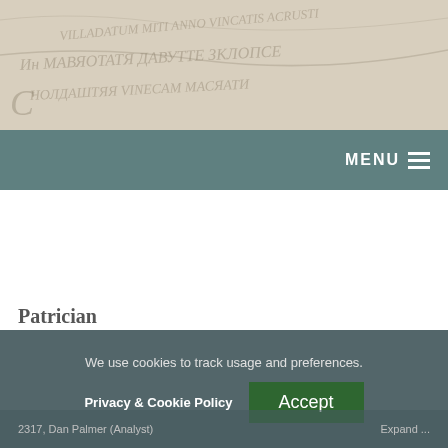[Figure (illustration): Background image of an aged historical document or map with faint cursive text and decorative lines, beige/cream colored.]
MENU
Patrician
We use cookies to track usage and preferences.
Privacy & Cookie Policy
Accept
2317, Dan Palmer (Analyst) Expand